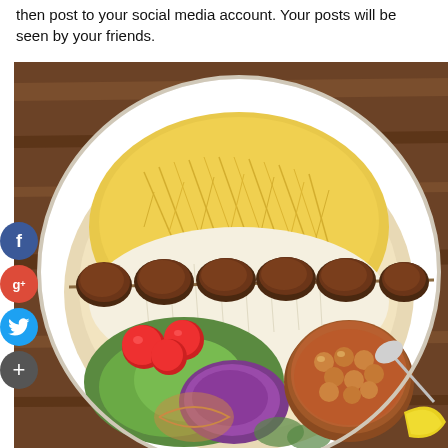then post to your social media account. Your posts will be seen by your friends.
[Figure (photo): A plate of Persian/Middle Eastern food viewed from above on a wooden table. The plate contains saffron rice, grilled meat kebab pieces, a fresh salad with cherry tomatoes, purple cabbage, lettuce, and onion, a small bowl of stewed chickpeas/beans in tomato sauce, and a slice of yellow lemon/quince. Social media share buttons (Facebook, Google+, Twitter, and a plus button) are overlaid on the left side of the image.]